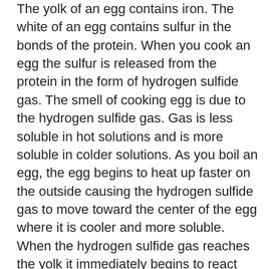The yolk of an egg contains iron. The white of an egg contains sulfur in the bonds of the protein. When you cook an egg the sulfur is released from the protein in the form of hydrogen sulfide gas. The smell of cooking egg is due to the hydrogen sulfide gas. Gas is less soluble in hot solutions and is more soluble in colder solutions. As you boil an egg, the egg begins to heat up faster on the outside causing the hydrogen sulfide gas to move toward the center of the egg where it is cooler and more soluble. When the hydrogen sulfide gas reaches the yolk it immediately begins to react with the iron in the yolk to form the iron (II) sulfide, which is a green color. To prevent the yolk from turning green you need to get the hydrogen sulfide gas to move away from the center so it can't react with the iron in the yolk. To do this you need to make the outside of an egg cooler than the inside so that the hydrogen sulfide gas will migrate outwards.